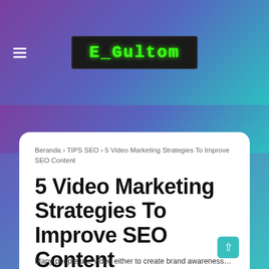E_Gultom
Beranda › TIPS SEO › 5 Video Marketing Strategies To Improve SEO Content
5 Video Marketing Strategies To Improve SEO Content
Syaqie   TIPS SEO